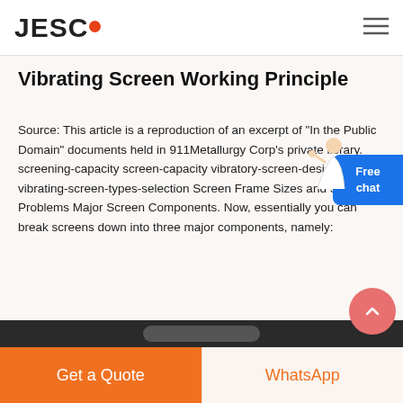JESCO
Vibrating Screen Working Principle
Source: This article is a reproduction of an excerpt of "In the Public Domain" documents held in 911Metallurgy Corp's private library. screening-capacity screen-capacity vibratory-screen-design-vibrating-screen-types-selection Screen Frame Sizes and Scale-Up Problems Major Screen Components. Now, essentially you can break screens down into three major components, namely: